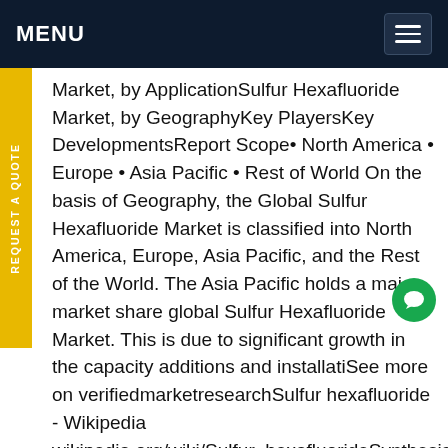MENU
Market, by ApplicationSulfur Hexafluoride Market, by GeographyKey PlayersKey DevelopmentsReport Scope• North America • Europe • Asia Pacific • Rest of World On the basis of Geography, the Global Sulfur Hexafluoride Market is classified into North America, Europe, Asia Pacific, and the Rest of the World. The Asia Pacific holds a major market share global Sulfur Hexafluoride Market. This is due to significant growth in the capacity additions and installatiSee more on verifiedmarketresearchSulfur hexafluoride - Wikipedia wikipedia.org/wiki/Sulfur_hexafluorideSynthesis Reactions ApplicationsGreenhouse GasPhysiological Effects and PrecautionsSee AlsoFurther ReadingExternal LinksSulfur hexafluoride on Earth exists primarily as a man-made industrial